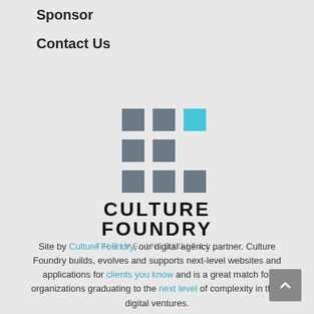Sponsor
Contact Us
[Figure (logo): Culture Foundry logo: 3x3 grid of squares with top-right square in cyan/teal and others in dark gray, with text CULTURE FOUNDRY and THRIVE IN DIGITAL. below]
Site by Culture Foundry, our digital agency partner. Culture Foundry builds, evolves and supports next-level websites and applications for clients you know and is a great match for organizations graduating to the next level of complexity in their digital ventures.